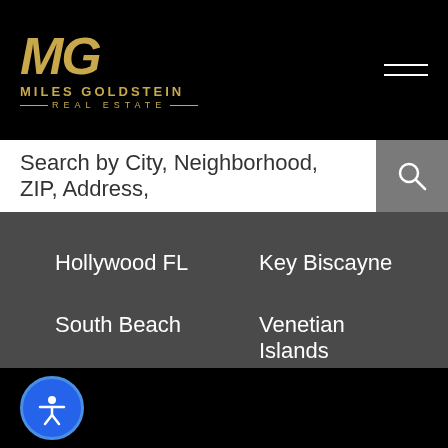[Figure (logo): Miles Goldstein Real Estate logo with MG monogram in gold on black background]
Search by City, Neighborhood, ZIP, Address,
Hollywood FL
Key Biscayne
South Beach
Venetian Islands
Miami Beach
Miami Shores
North Bay Village
North Miami Beach
Sunny Isles Beach
Surfside